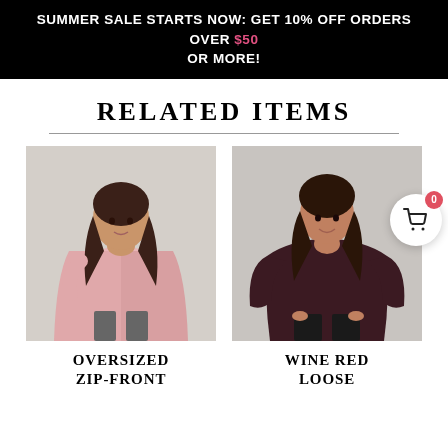SUMMER SALE STARTS NOW: GET 10% OFF ORDERS OVER $50 OR MORE!
RELATED ITEMS
[Figure (photo): Woman wearing a pink oversized zip-front jacket over a white top and grey jeans]
[Figure (photo): Woman wearing a wine red loose knit sweater with black leather pants]
OVERSIZED ZIP-FRONT
WINE RED LOOSE